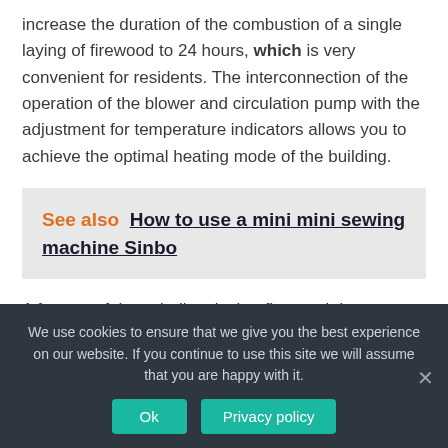increase the duration of the combustion of a single laying of firewood to 24 hours, which is very convenient for residents. The interconnection of the operation of the blower and circulation pump with the adjustment for temperature indicators allows you to achieve the optimal heating mode of the building.
See also  How to use a mini mini sewing machine Sinbo
A feature of these boilers is that firewood does not burn at the...
We use cookies to ensure that we give you the best experience on our website. If you continue to use this site we will assume that you are happy with it.